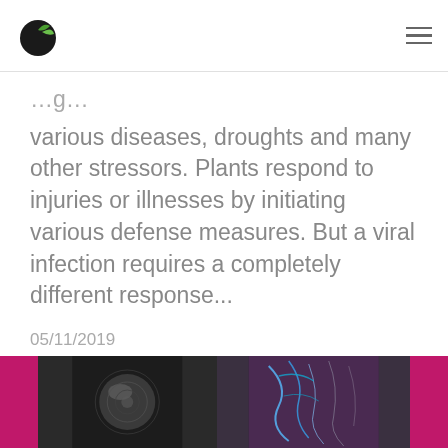Plant science website header with logo and hamburger menu
various diseases, droughts and many other stressors. Plants respond to injuries or illnesses by initiating various defense measures. But a viral infection requires a completely different response...
05/11/2019
[Figure (photo): Scientific microscopy images: left shows a round cell/spore structure in dark background, right shows a blue-stained plant tissue or root structure with pink/purple coloring on magenta background panels on either side]